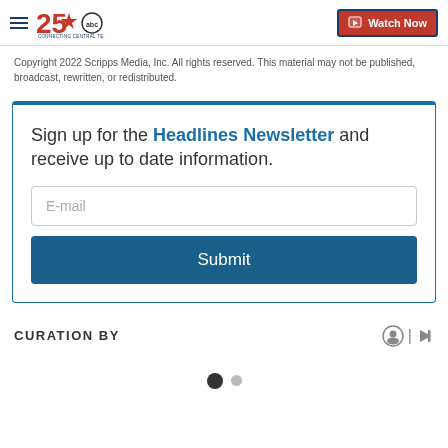KXXV 25 ABC - Connecting Central Texas | Watch Now
Copyright 2022 Scripps Media, Inc. All rights reserved. This material may not be published, broadcast, rewritten, or redistributed.
Sign up for the Headlines Newsletter and receive up to date information.
E-mail
Submit
CURATION BY